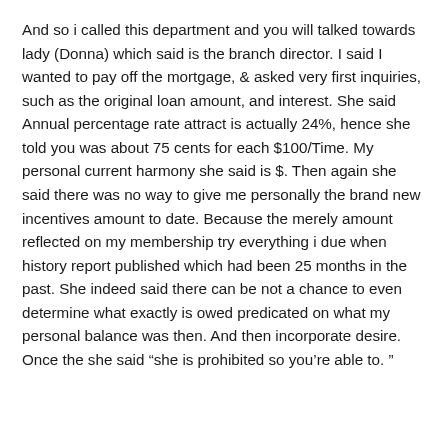And so i called this department and you will talked towards lady (Donna) which said is the branch director. I said I wanted to pay off the mortgage, & asked very first inquiries, such as the original loan amount, and interest. She said Annual percentage rate attract is actually 24%, hence she told you was about 75 cents for each $100/Time. My personal current harmony she said is $. Then again she said there was no way to give me personally the brand new incentives amount to date. Because the merely amount reflected on my membership try everything i due when history report published which had been 25 months in the past. She indeed said there can be not a chance to even determine what exactly is owed predicated on what my personal balance was then. And then incorporate desire. Once the she said “she is prohibited so you’re able to. ”